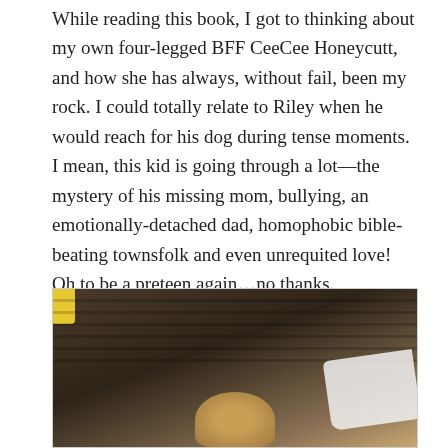While reading this book, I got to thinking about my own four-legged BFF CeeCee Honeycutt, and how she has always, without fail, been my rock. I could totally relate to Riley when he would reach for his dog during tense moments. I mean, this kid is going through a lot—the mystery of his missing mom, bullying, an emotionally-detached dad, homophobic bible-beating townsfolk and even unrequited love! Oh to be a preteen again…no thanks.
[Figure (photo): A photo showing a dark wooden surface with a yellow object in the top-left corner, a white cloth or fabric on the right side, and a tan/brown rounded shape (possibly a dog's head) at the bottom center.]